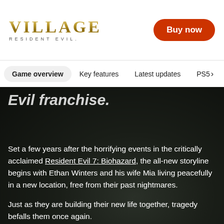VILLAGE RESIDENT EVIL.
Buy now
Game overview | Key features | Latest updates | PS5
Evil franchise.
Set a few years after the horrifying events in the critically acclaimed Resident Evil 7: Biohazard, the all-new storyline begins with Ethan Winters and his wife Mia living peacefully in a new location, free from their past nightmares.

Just as they are building their new life together, tragedy befalls them once again.